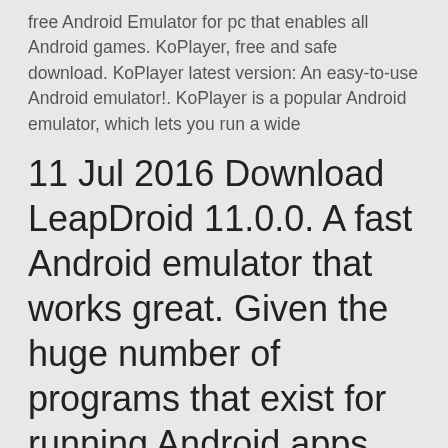free Android Emulator for pc that enables all Android games. KoPlayer, free and safe download. KoPlayer latest version: An easy-to-use Android emulator!. KoPlayer is a popular Android emulator, which lets you run a wide
11 Jul 2016 Download LeapDroid 11.0.0. A fast Android emulator that works great. Given the huge number of programs that exist for running Android apps nowadays, it's tough for a new one to get noticed. Even so License: Free. Category but it is not